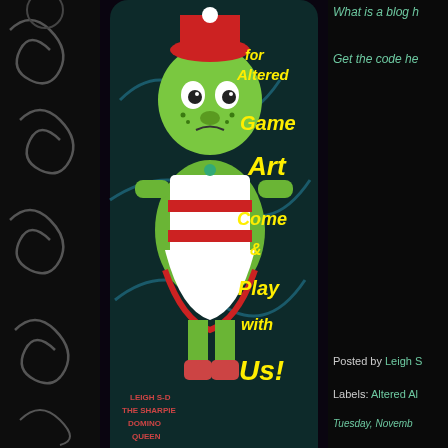[Figure (illustration): Decorative black background with grey swirl/floral patterns on the left sidebar]
[Figure (illustration): Altered game art domino card featuring a green cartoon Grinch-like character in a red dress, with yellow text reading 'for Altered Game Art Come & Play with Us!' and text 'LEIGH S-D THE SHARPIE DOMINO QUEEN' on a dark teal/black background]
What is a blog h
Get the code he
Posted by Leigh S
Labels: Altered Al
Tuesday, Novemb
CAS Chris Challenge!
My Creative Followers!
Followers (5)